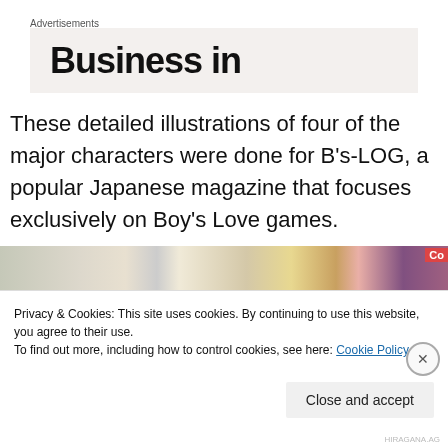Advertisements
[Figure (screenshot): Advertisement banner with text 'Business in' on a light beige background]
These detailed illustrations of four of the major characters were done for B's-LOG, a popular Japanese magazine that focuses exclusively on Boy's Love games.
[Figure (photo): Photo of open manga/comic books spread on a surface, showing colorful illustrated pages]
Privacy & Cookies: This site uses cookies. By continuing to use this website, you agree to their use.
To find out more, including how to control cookies, see here: Cookie Policy
Close and accept